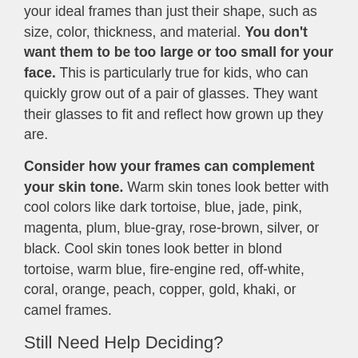your ideal frames than just their shape, such as size, color, thickness, and material. You don't want them to be too large or too small for your face. This is particularly true for kids, who can quickly grow out of a pair of glasses. They want their glasses to fit and reflect how grown up they are.
Consider how your frames can complement your skin tone. Warm skin tones look better with cool colors like dark tortoise, blue, jade, pink, magenta, plum, blue-gray, rose-brown, silver, or black. Cool skin tones look better in blond tortoise, warm blue, fire-engine red, off-white, coral, orange, peach, copper, gold, khaki, or camel frames.
Still Need Help Deciding?
Hopefully. we've already helped you know where to start when you choose your next frames, but if you still aren't sure what will look great on you, we're happy to offer our recommendations. We look forward to seeing you at